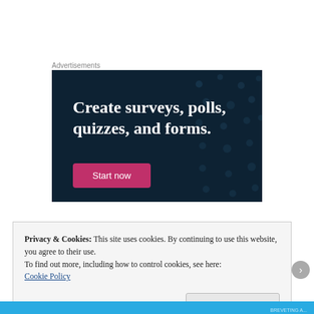Advertisements
[Figure (illustration): Advertisement banner with dark navy background and polka dot pattern. Text reads 'Create surveys, polls, quizzes, and forms.' with a pink 'Start now' button.]
Privacy & Cookies: This site uses cookies. By continuing to use this website, you agree to their use.
To find out more, including how to control cookies, see here:
Cookie Policy
Close and accept